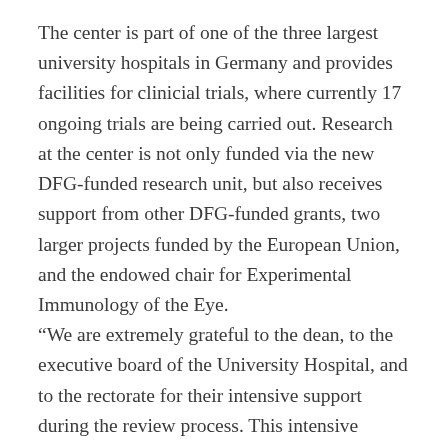The center is part of one of the three largest university hospitals in Germany and provides facilities for clinicial trials, where currently 17 ongoing trials are being carried out. Research at the center is not only funded via the new DFG-funded research unit, but also receives support from other DFG-funded grants, two larger projects funded by the European Union, and the endowed chair for Experimental Immunology of the Eye.
“We are extremely grateful to the dean, to the executive board of the University Hospital, and to the rectorate for their intensive support during the review process. This intensive support was crucial for our final success in the competitive application procedure”, notes Prof. Cursiefen.
On a last note, Prof. Cursiefen explains that “it is our goal to transfer the newly gained insights as